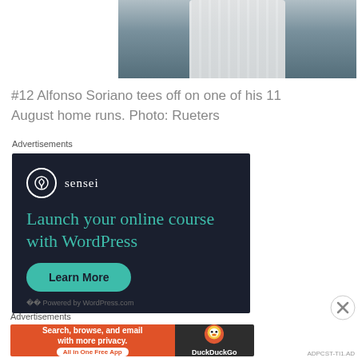[Figure (photo): Baseball player in white pinstripe uniform, cropped to show torso/arms in batting or throwing pose]
#12 Alfonso Soriano tees off on one of his 11 August home runs. Photo: Rueters
Advertisements
[Figure (screenshot): Sensei advertisement: dark navy background with Sensei logo (tree icon in circle), headline 'Launch your online course with WordPress', teal 'Learn More' button, powered by WordPress.com footer]
[Figure (screenshot): DuckDuckGo advertisement: orange left panel with 'Search, browse, and email with more privacy. All in One Free App', dark right panel with DuckDuckGo duck logo and brand name]
Advertisements
ADPCST-TI1.AD